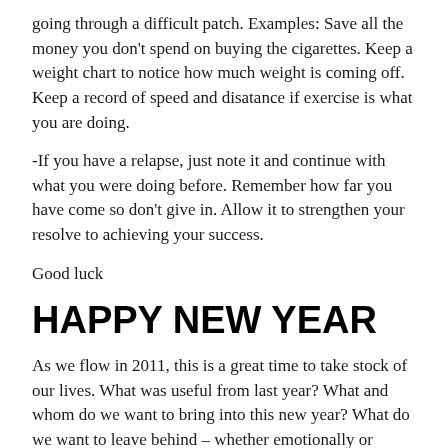going through a difficult patch. Examples: Save all the money you don't spend on buying the cigarettes. Keep a weight chart to notice how much weight is coming off. Keep a record of speed and disatance if exercise is what you are doing.
-If you have a relapse, just note it and continue with what you were doing before. Remember how far you have come so don't give in. Allow it to strengthen your resolve to achieving your success.
Good luck
HAPPY NEW YEAR
As we flow in 2011, this is a great time to take stock of our lives. What was useful from last year? What and whom do we want to bring into this new year? What do we want to leave behind – whether emotionally or experientially? Whatever your answer may be, this is the time for you to decide
Many people want to stop smoking, lose weight or start